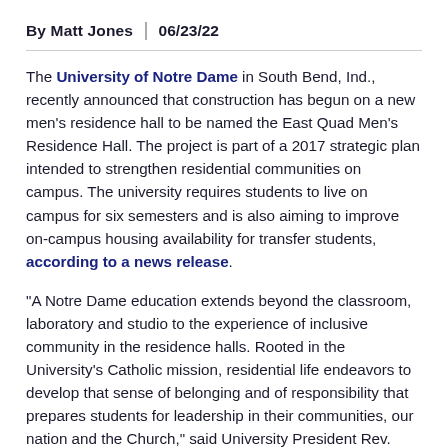By Matt Jones | 06/23/22
The University of Notre Dame in South Bend, Ind., recently announced that construction has begun on a new men’s residence hall to be named the East Quad Men’s Residence Hall. The project is part of a 2017 strategic plan intended to strengthen residential communities on campus. The university requires students to live on campus for six semesters and is also aiming to improve on-campus housing availability for transfer students, according to a news release.
“A Notre Dame education extends beyond the classroom, laboratory and studio to the experience of inclusive community in the residence halls. Rooted in the University’s Catholic mission, residential life endeavors to develop that sense of belonging and of responsibility that prepares students for leadership in their communities, our nation and the Church,” said University President Rev. John I. Jenkins, C.S.C. “With the addition of this new hall, we are able to